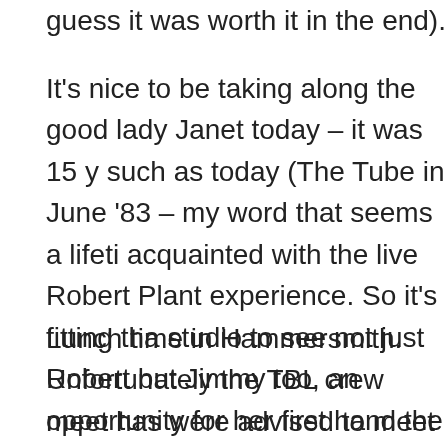guess it was worth it in the end).
It's nice to be taking along the good lady Janet today – it was 15 y such as today (The Tube in June '83 – my word that seems a lifeti acquainted with the live Robert Plant experience. So it's fitting tha studio to see not just Robert but Jimmy too, an opportunity for her first hand the reason for all the endless phone calls that disrupt Co in the Totnes household.
Lunch time in Hammersmith. Unfortunately the TBL crew meet has were advised to meet in has, er, well, been renamed! Luckily we a Wetherspoons pub and from there it's off to the near-by Riverside
Another queue begins but finally we are in (and no problems with rules after all!) Then it's more excited waiting outside the studio an 4pm. (Not before the strains of a Most High run-through have beer gather around the stage that they will be performing on. Which is n drum kit, Jimmy's effects panel and one solitary microphone at the
A studio announcer runs us through pro-ceedings and gets the ru